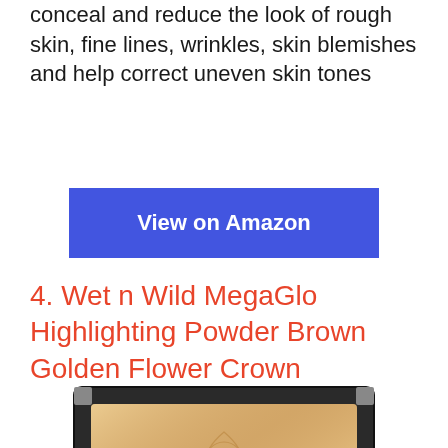conceal and reduce the look of rough skin, fine lines, wrinkles, skin blemishes and help correct uneven skin tones
View on Amazon
4. Wet n Wild MegaGlo Highlighting Powder Brown Golden Flower Crown
[Figure (photo): Photo of Wet n Wild MegaGlo Highlighting Powder compact in a black square case showing a golden shimmer powder with embossed floral design and 'wet n wild' branding]